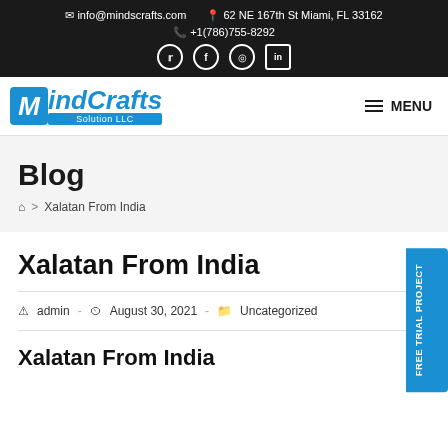info@mindscrafts.com  62 NE 167th St Miami, FL 33162  +1(786)755-8292
[Figure (logo): MindCrafts Solution LLC logo with blue M box and blue italic text]
MENU
Blog
Home > Xalatan From India
Xalatan From India
admin  -  August 30, 2021  -  Uncategorized
Xalatan From India